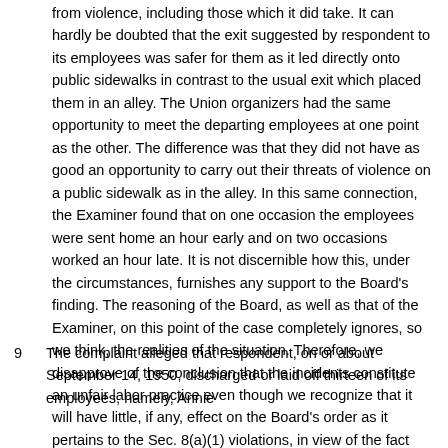from violence, including those which it did take. It can hardly be doubted that the exit suggested by respondent to its employees was safer for them as it led directly onto public sidewalks in contrast to the usual exit which placed them in an alley. The Union organizers had the same opportunity to meet the departing employees at one point as the other. The difference was that they did not have as good an opportunity to carry out their threats of violence on a public sidewalk as in the alley. In this same connection, the Examiner found that on one occasion the employees were sent home an hour early and on two occasions worked an hour late. It is not discernible how this, under the circumstances, furnishes any support to the Board's finding. The reasoning of the Board, as well as that of the Examiner, on this point of the case completely ignores, so we think, the realities of the situation. Therefore, we disapprove of the conclusion that the incidents constitute an unfair labor practice even though we recognize that it will have little, if any, effect on the Board's order as it pertains to the Sec. 8(a)(1) violations, in view of the fact that we have approved the Board's conclusions in other respects.
9
The complaint alleged that respondent, on or about September 14, 1950, discharged or laid off thirteen of its employees, namely, Annie